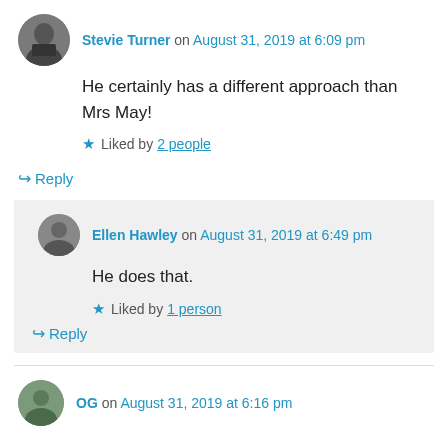Stevie Turner on August 31, 2019 at 6:09 pm
He certainly has a different approach than Mrs May!
★ Liked by 2 people
↪ Reply
Ellen Hawley on August 31, 2019 at 6:49 pm
He does that.
★ Liked by 1 person
↪ Reply
OG on August 31, 2019 at 6:16 pm